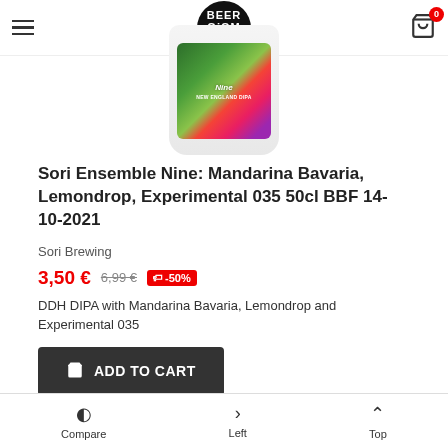[Figure (screenshot): Beer GiOM craft beer online shop logo in black circle]
[Figure (photo): Sori Ensemble Nine beer can with colorful floral label]
Sori Ensemble Nine: Mandarina Bavaria, Lemondrop, Experimental 035 50cl BBF 14-10-2021
Sori Brewing
3,50 € 6,99 € -50%
DDH DIPA with Mandarina Bavaria, Lemondrop and Experimental 035
ADD TO CART
Add to compare   Add to Wishlist   Quick view
Compare   Left   Top